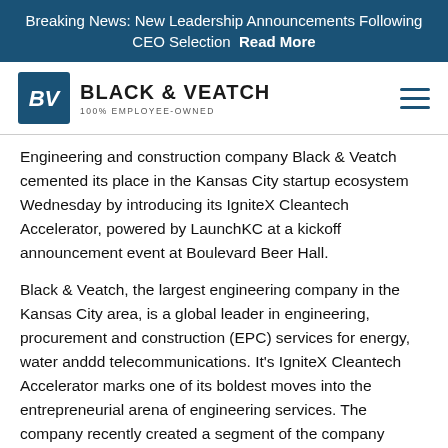Breaking News: New Leadership Announcements Following CEO Selection  Read More
[Figure (logo): Black & Veatch logo with BV icon, text 'BLACK & VEATCH' and '100% EMPLOYEE-OWNED']
Engineering and construction company Black & Veatch cemented its place in the Kansas City startup ecosystem Wednesday by introducing its IgniteX Cleantech Accelerator, powered by LaunchKC at a kickoff announcement event at Boulevard Beer Hall.
Black & Veatch, the largest engineering company in the Kansas City area, is a global leader in engineering, procurement and construction (EPC) services for energy, water anddd telecommunications. It's IgniteX Cleantech Accelerator marks one of its boldest moves into the entrepreneurial arena of engineering services. The company recently created a segment of the company known as the Growth Accelerator, leveraging Black & Veatch's core